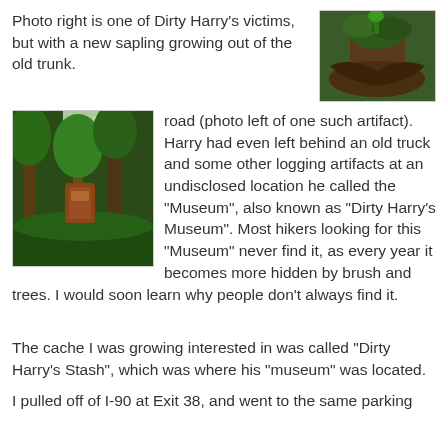Photo right is one of Dirty Harry's victims, but with a new sapling growing out of the old trunk.
[Figure (photo): Photo of a fallen/damaged tree trunk with a new sapling growing from it, taken in a forested area]
Anyway, many years after Dirty Harry stopped his tree-clearing practices, the occasional rusty artifact from his logging past can still be found along and near his old logging road (photo left of one such artifact). Harry had even left behind an old truck and some other logging artifacts at an undisclosed location he called the "Museum", also known as "Dirty Harry's Museum". Most hikers looking for this "Museum" never find it, as every year it becomes more hidden by brush and trees. I would soon learn why people don't always find it.
[Figure (photo): Photo of a rusty logging artifact among green trees and brush along a forest trail]
The cache I was growing interested in was called "Dirty Harry's Stash", which was where his "museum" was located.
I pulled off of I-90 at Exit 38, and went to the same parking